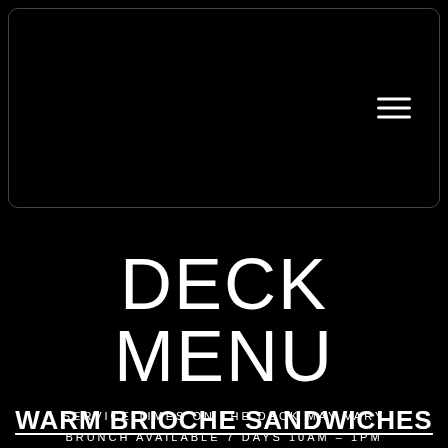[Figure (screenshot): Black navigation box with rounded border containing a hamburger menu icon (three horizontal white lines) in the right side]
DECK MENU
SERVICE TIMES ON THE DECK MAY VARY
BRUNCH AVAILABLE 7 DAYS 10AM – 1PM
WARM BRIOCHE SANDWICHES